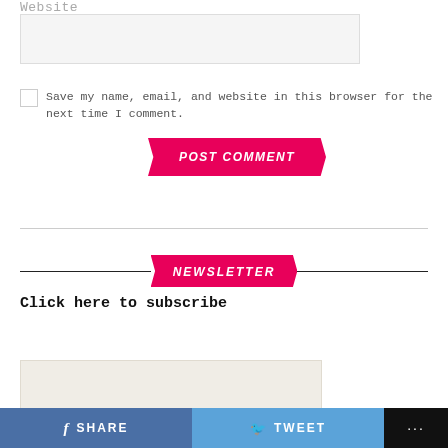Website
[Figure (screenshot): Website input text field, light gray background]
[Figure (screenshot): Checkbox (unchecked)]
Save my name, email, and website in this browser for the next time I comment.
[Figure (infographic): POST COMMENT button with hot-pink parallelogram/chevron shape, bold italic white text]
[Figure (infographic): NEWSLETTER header with pink parallelogram badge flanked by horizontal rules]
Click here to subscribe
[Figure (screenshot): Beige/off-white content box at bottom]
SHARE   TWEET   ...